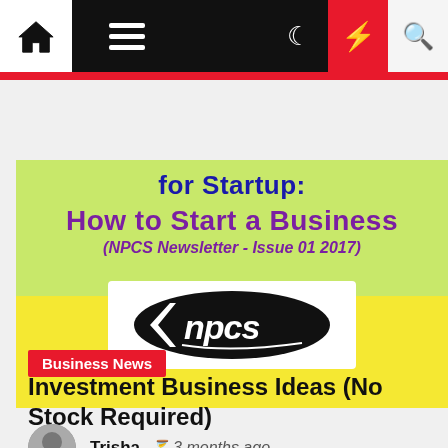[Figure (screenshot): Website navigation bar with home icon, hamburger menu, dark mode, lightning bolt (red), and search icons]
[Figure (illustration): Green and yellow banner with text 'for Startup: How to Start a Business (NPCS Newsletter - Issue 01 2017)' and NPCS logo oval]
Business News
Investment Business Ideas (No Stock Required)
Trisha  3 months ago